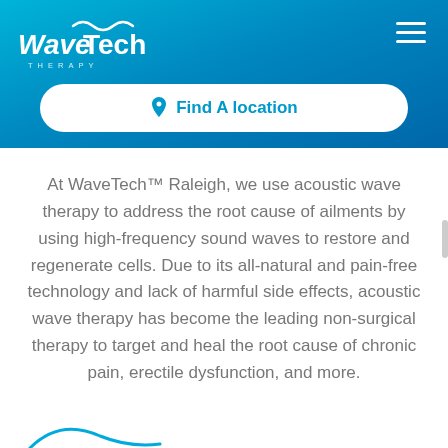[Figure (logo): WaveTech Therapy logo in white on blue gradient header background]
Find A location
At WaveTech™ Raleigh, we use acoustic wave therapy to address the root cause of ailments by using high-frequency sound waves to restore and regenerate cells. Due to its all-natural and pain-free technology and lack of harmful side effects, acoustic wave therapy has become the leading non-surgical therapy to target and heal the root cause of chronic pain, erectile dysfunction, and more.